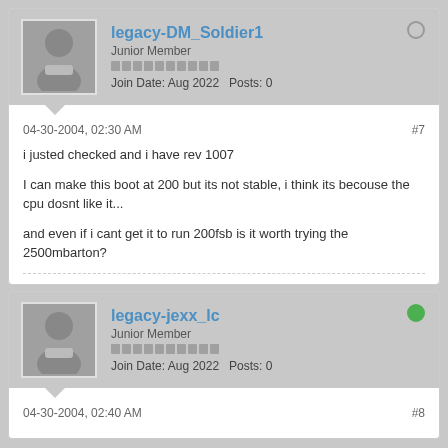legacy-DM_Soldier1
Junior Member
Join Date: Aug 2022  Posts: 0
04-30-2004, 02:30 AM
#7
i justed checked and i have rev 1007

I can make this boot at 200 but its not stable, i think its becouse the cpu dosnt like it...

and even if i cant get it to run 200fsb is it worth trying the 2500mbarton?
legacy-jexx_lc
Junior Member
Join Date: Aug 2022  Posts: 0
04-30-2004, 02:40 AM
#8